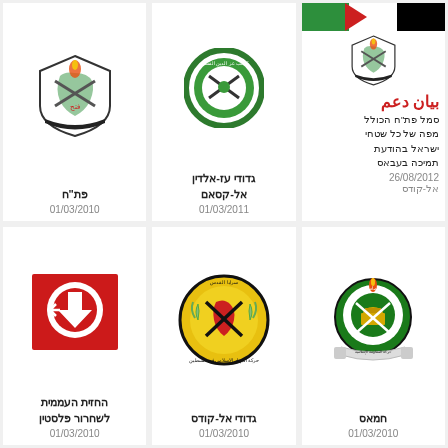[Figure (logo): Fatah logo - shield with crossed rifles and map of Palestine]
פת"ח
01/03/2010
[Figure (logo): Izz ad-Din al-Qassam Brigades logo - circular green emblem]
גדודי עז-אלדין
אל-קסאם
01/03/2011
[Figure (logo): Fatah logo with Palestinian flag banner and Arabic text بيان دعم]
סמל פת"ח הכולל מפה של כל שטחי ישראל בהודעת תמיכה בעבאס
26/08/2012
אל-קודס
[Figure (logo): PFLP logo - red circle with arrow]
החזית העממית לשחרור פלסטין
01/03/2010
[Figure (logo): Al-Quds Brigades logo - circular yellow and black emblem with crossed rifles]
גדודי אל-קודס
01/03/2010
[Figure (logo): Hamas logo - green circle with Dome of the Rock and crossed swords]
חמאס
01/03/2010